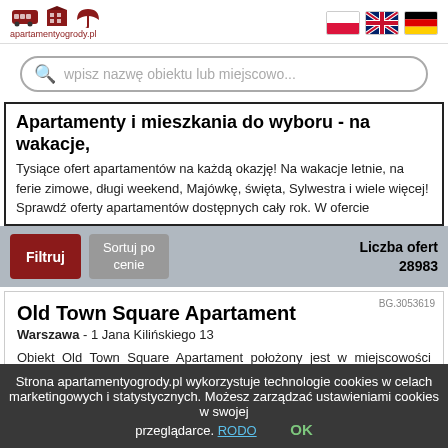[Figure (logo): apartamentyogrody.pl logo with icons and flag icons (Polish, British, German)]
wpisz nazwę obiektu lub miejscowo...
Apartamenty i mieszkania do wyboru - na wakacje,
Tysiące ofert apartamentów na każdą okazję! Na wakacje letnie, na ferie zimowe, długi weekend, Majówkę, święta, Sylwestra i wiele więcej! Sprawdź oferty apartamentów dostępnych cały rok. W ofercie
Filtruj   Sortuj po cenie   Liczba ofert 28983
BG.3053619
Old Town Square Apartament
Warszawa - 1 Jana Kilińskiego 13
Obiekt Old Town Square Apartament położony jest w miejscowości Warszawa i oferuje bezpłatne WiFi. Odległość ważnych miejsc od obiektu: Barbakan – 200 m, Pomnik Powstania Warszawskiego – 200 ...
Strona apartamentyogrody.pl wykorzystuje technologie cookies w celach marketingowych i statystycznych. Możesz zarządzać ustawieniami cookies w swojej przeglądarce. RODO   OK